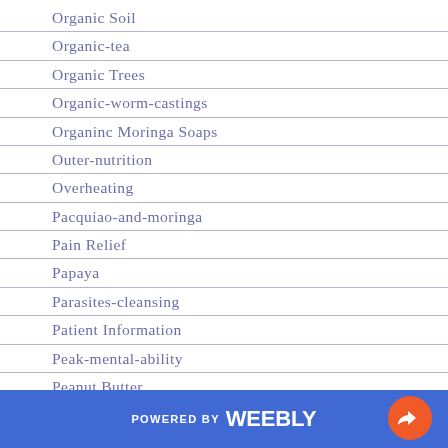Organic Soil
Organic-tea
Organic Trees
Organic-worm-castings
Organinc Moringa Soaps
Outer-nutrition
Overheating
Pacquiao-and-moringa
Pain Relief
Papaya
Parasites-cleansing
Patient Information
Peak-mental-ability
Peanut Butter
Peanut Butter And Moringa
Peppermint
Peppermint-oil
POWERED BY weebly